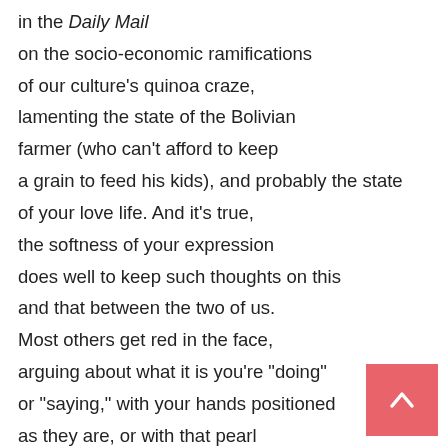in the Daily Mail
on the socio-economic ramifications
of our culture's quinoa craze,
lamenting the state of the Bolivian
farmer (who can't afford to keep
a grain to feed his kids), and probably the state
of your love life. And it's true,
the softness of your expression
does well to keep such thoughts on this
and that between the two of us.
Most others get red in the face,
arguing about what it is you're "doing"
or "saying," with your hands positioned
as they are, or with that pearl
around your neck falling as it does.
Who cares about all that?
You're thinking of a woman
in the next room, herself a subject